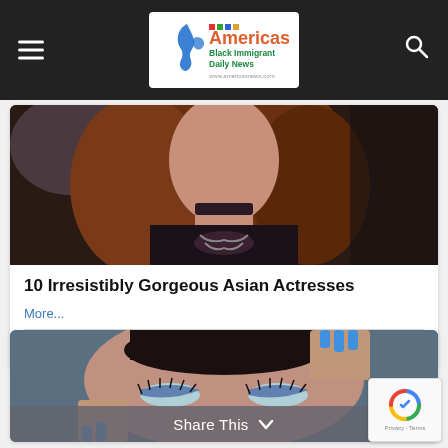Americas Black Immigrant Daily News
[Figure (photo): Woman with auburn hair wearing black outfit with decorative neckline and choker]
10 Irresistibly Gorgeous Asian Actresses
More...
211  53  70
[Figure (photo): Close-up of woman with dark hair and blue nails touching her eyebrows, wearing dramatic eye makeup]
Share This